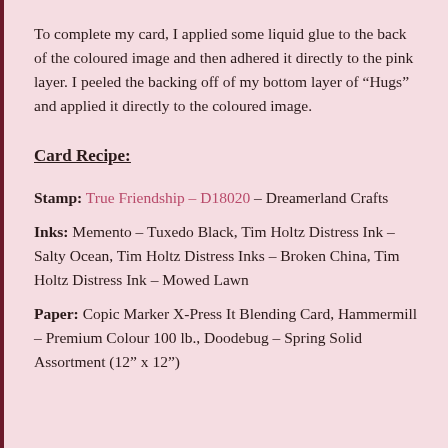To complete my card, I applied some liquid glue to the back of the coloured image and then adhered it directly to the pink layer. I peeled the backing off of my bottom layer of “Hugs” and applied it directly to the coloured image.
Card Recipe:
Stamp: True Friendship – D18020 – Dreamerland Crafts
Inks: Memento – Tuxedo Black, Tim Holtz Distress Ink – Salty Ocean, Tim Holtz Distress Inks – Broken China, Tim Holtz Distress Ink – Mowed Lawn
Paper: Copic Marker X-Press It Blending Card, Hammermill – Premium Colour 100 lb., Doodebug – Spring Solid Assortment (12” x 12”)